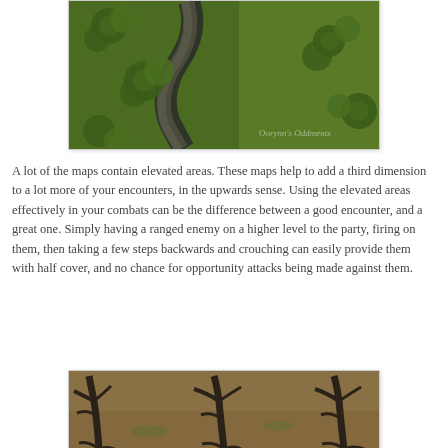[Figure (illustration): Top-down fantasy battle map showing a river or rocky ravine winding through green terrain with trees and brown earth. Watermark reads 'Oorynn's Oddments'.]
A lot of the maps contain elevated areas. These maps help to add a third dimension to a lot more of your encounters, in the upwards sense. Using the elevated areas effectively in your combats can be the difference between a good encounter, and a great one. Simply having a ranged enemy on a higher level to the party, firing on them, then taking a few steps backwards and crouching can easily provide them with half cover, and no chance for opportunity attacks being made against them.
[Figure (illustration): Top-down fantasy battle map showing gnarled dead trees on sandy/brown terrain, viewed from above.]